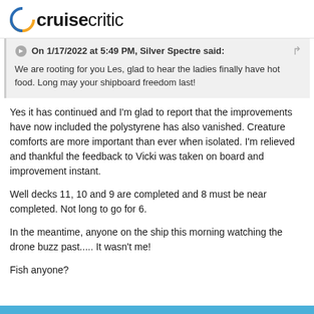cruisecritic
On 1/17/2022 at 5:49 PM, Silver Spectre said:
We are rooting for you Les, glad to hear the ladies finally have hot food. Long may your shipboard freedom last!
Yes it has continued and I'm glad to report that the improvements have now included the polystyrene has also vanished. Creature comforts are more important than ever when isolated. I'm relieved and thankful the feedback to Vicki was taken on board and improvement instant.
Well decks 11, 10 and 9 are completed and 8 must be near completed. Not long to go for 6.
In the meantime, anyone on the ship this morning watching the drone buzz past..... It wasn't me!
Fish anyone?